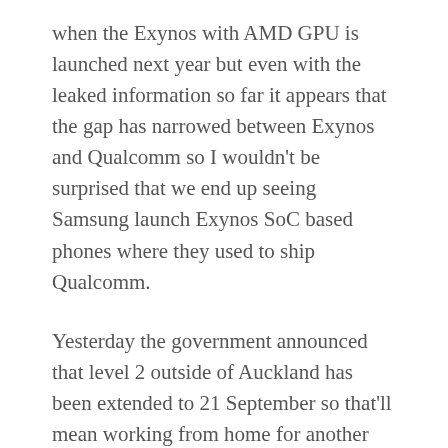when the Exynos with AMD GPU is launched next year but even with the leaked information so far it appears that the gap has narrowed between Exynos and Qualcomm so I wouldn't be surprised that we end up seeing Samsung launch Exynos SoC based phones where they used to ship Qualcomm.
Yesterday the government announced that level 2 outside of Auckland has been extended to 21 September so that'll mean working from home for another week which I'm happy about – not having to spend money getting to and from work is nice but I wish it were a more permanent option or at least be able to work from home for Wednesday, Thursday and Sun with Friday and Saturday at work in the office (I don't start until 11:30am those days). With all that being said, the big focus by me is to get rid of the